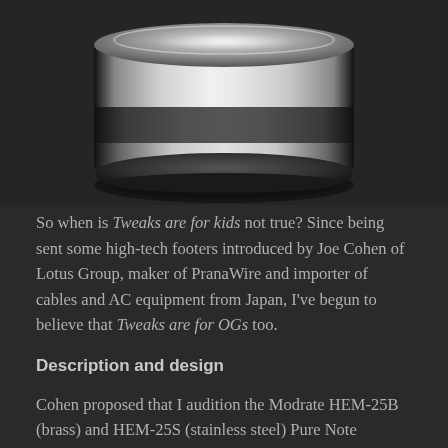[Figure (photo): Close-up photo of a metallic cylindrical audio footer/isolator device — stainless steel with polished chrome bands, viewed from above against a dark background.]
So when is Tweaks are for kids not true? Since being sent some high-tech footers introduced by Joe Cohen of Lotus Group, maker of PranaWire and importer of cables and AC equipment from Japan, I've begun to believe that Tweaks are for OGs too.
Description and design
Cohen proposed that I audition the Modrate HEM-25B (brass) and HEM-25S (stainless steel) Pure Note Insulators, made in Japan by a company with the wondrously Di...